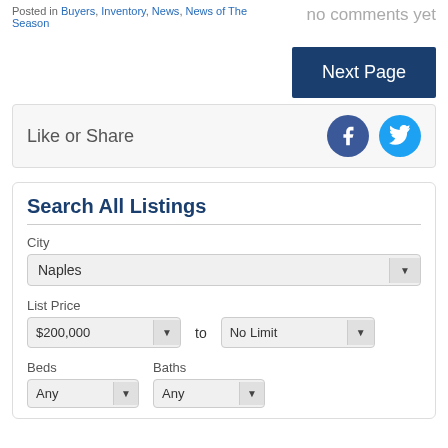Posted in Buyers, Inventory, News, News of The Season
no comments yet
[Figure (screenshot): Next Page button - dark blue button with white text]
[Figure (screenshot): Like or Share bar with Facebook and Twitter icons]
Search All Listings
City
Naples (dropdown)
List Price
$200,000 to No Limit (dropdowns)
Beds
Baths
Any (Beds dropdown)
Any (Baths dropdown)